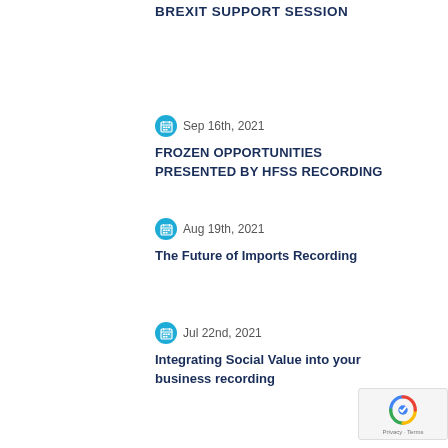BREXIT SUPPORT SESSION
Sep 16th, 2021
FROZEN OPPORTUNITIES PRESENTED BY HFSS RECORDING
Aug 19th, 2021
The Future of Imports Recording
Jul 22nd, 2021
Integrating Social Value into your business recording